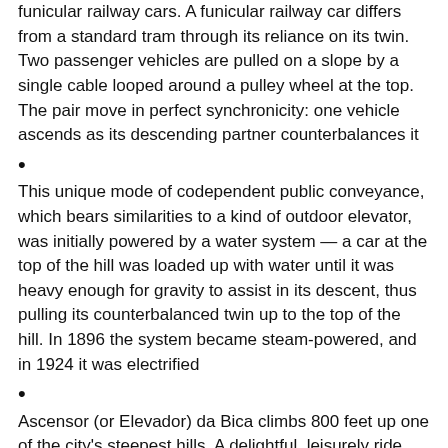funicular railway cars. A funicular railway car differs from a standard tram through its reliance on its twin. Two passenger vehicles are pulled on a slope by a single cable looped around a pulley wheel at the top. The pair move in perfect synchronicity: one vehicle ascends as its descending partner counterbalances it
•
This unique mode of codependent public conveyance, which bears similarities to a kind of outdoor elevator, was initially powered by a water system — a car at the top of the hill was loaded up with water until it was heavy enough for gravity to assist in its descent, thus pulling its counterbalanced twin up to the top of the hill. In 1896 the system became steam-powered, and in 1924 it was electrified
•
Ascensor (or Elevador) da Bica climbs 800 feet up one of the city's steepest hills. A delightful, leisurely ride and a hop off at the top leads you to Miradouro de Santa Luzia, a terrace from which to marvel at the distinct rooftops of Europe's western- most capital city"
•
PS: Enter our Giveaway (link in bio 🔗) to read the Full Story & get some other beautiful goodies 🎁
•
"Accidentally" Are you here? #Somewhere in...